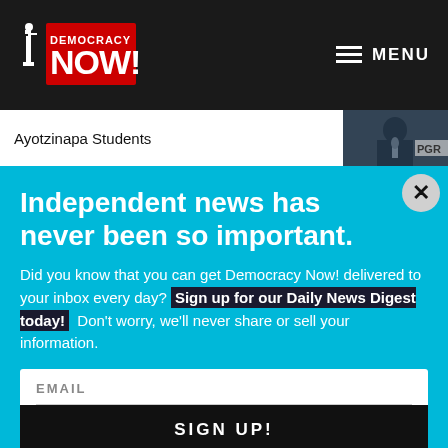Democracy Now! — MENU
Ayotzinapa Students
[Figure (photo): Person speaking at a microphone with text 'PGR' visible in background]
Independent news has never been so important.
Did you know that you can get Democracy Now! delivered to your inbox every day? Sign up for our Daily News Digest today! Don't worry, we'll never share or sell your information.
EMAIL
SIGN UP!